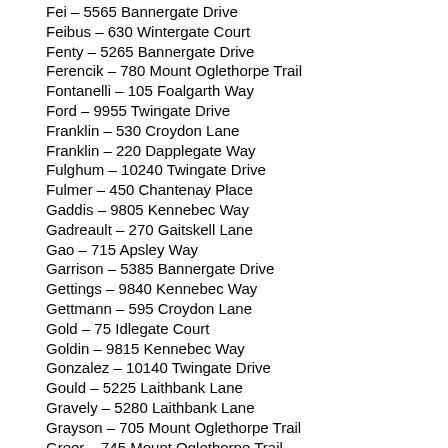Fei – 5565 Bannergate Drive
Feibus – 630 Wintergate Court
Fenty – 5265 Bannergate Drive
Ferencik – 780 Mount Oglethorpe Trail
Fontanelli – 105 Foalgarth Way
Ford – 9955 Twingate Drive
Franklin – 530 Croydon Lane
Franklin – 220 Dapplegate Way
Fulghum – 10240 Twingate Drive
Fulmer – 450 Chantenay Place
Gaddis – 9805 Kennebec Way
Gadreault – 270 Gaitskell Lane
Gao – 715 Apsley Way
Garrison – 5385 Bannergate Drive
Gettings – 9840 Kennebec Way
Gettmann – 595 Croydon Lane
Gold – 75 Idlegate Court
Goldin – 9815 Kennebec Way
Gonzalez – 10140 Twingate Drive
Gould – 5225 Laithbank Lane
Gravely – 5280 Laithbank Lane
Grayson – 705 Mount Oglethorpe Trail
Greer – 745 Mount Oglethorpe Trail